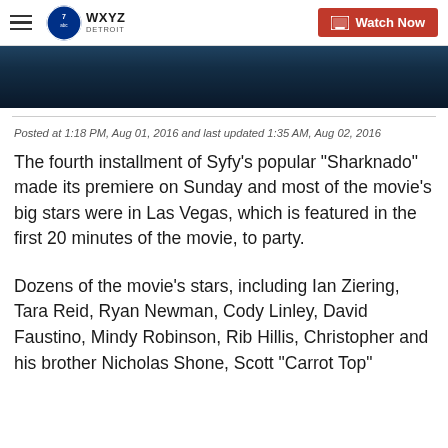WXYZ Detroit — Watch Now
[Figure (photo): Dark blue-toned image banner, partially cropped at top, appearing to show shadowed figures on a dark background.]
Posted at 1:18 PM, Aug 01, 2016 and last updated 1:35 AM, Aug 02, 2016
The fourth installment of Syfy's popular "Sharknado" made its premiere on Sunday and most of the movie's big stars were in Las Vegas, which is featured in the first 20 minutes of the movie, to party.
Dozens of the movie's stars, including Ian Ziering, Tara Reid, Ryan Newman, Cody Linley, David Faustino, Mindy Robinson, Rib Hillis, Christopher and his brother Nicholas Shone, Scott "Carrot Top"